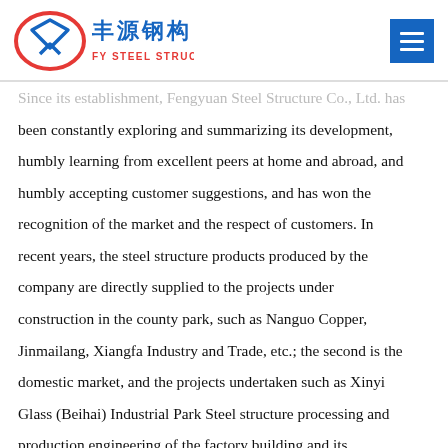FY STEEL STRUCTURE (丰源钢构) logo and menu button
Since its establishment, Fengyuan Steel Structure Co., Ltd. has been constantly exploring and summarizing its development, humbly learning from excellent peers at home and abroad, and humbly accepting customer suggestions, and has won the recognition of the market and the respect of customers. In recent years, the steel structure products produced by the company are directly supplied to the projects under construction in the county park, such as Nanguo Copper, Jinmailang, Xiangfa Industry and Trade, etc.; the second is the domestic market, and the projects undertaken such as Xinyi Glass (Beihai) Industrial Park Steel structure processing and production engineering of the factory building and its